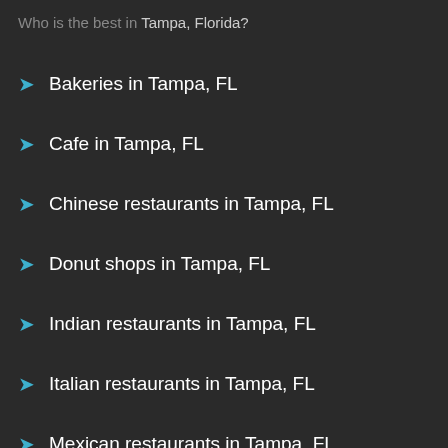Who is the best in Tampa, Florida?
Bakeries in Tampa, FL
Cafe in Tampa, FL
Chinese restaurants in Tampa, FL
Donut shops in Tampa, FL
Indian restaurants in Tampa, FL
Italian restaurants in Tampa, FL
Mexican restaurants in Tampa, FL
Pizza places in Tampa, FL